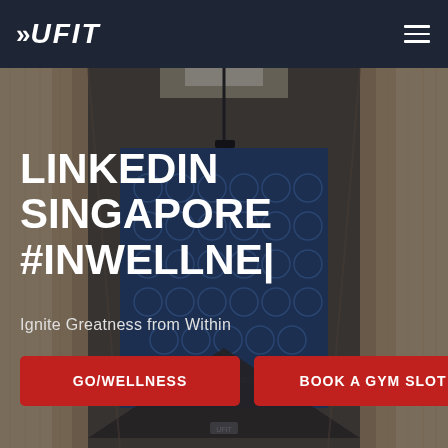>>UFIT
[Figure (photo): Interior corridor photo of a gym facility with wood-paneled walls, a blue accent wall with wellness icons/graphics, track lighting on the ceiling, and a dark floor. The corridor leads to a branded wellness space.]
LINKEDIN SINGAPORE #INWELLNE|
Ignite Greatness from Within
GO/WELLNESS
BOOK A GYM SLOT